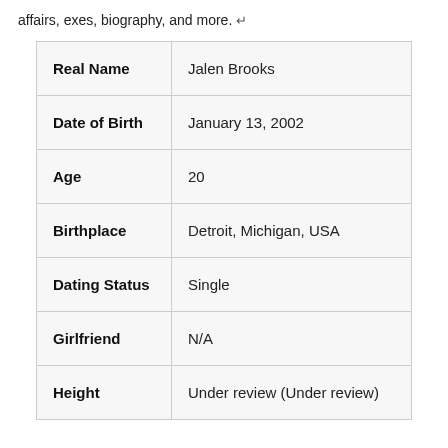affairs, exes, biography, and more. ↵
| Real Name | Jalen Brooks |
| Date of Birth | January 13, 2002 |
| Age | 20 |
| Birthplace | Detroit, Michigan, USA |
| Dating Status | Single |
| Girlfriend | N/A |
| Height | Under review (Under review) |